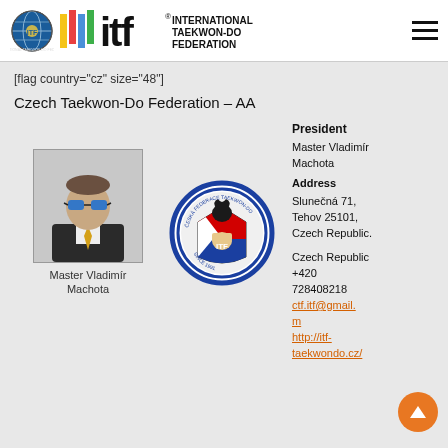International Taekwon-Do Federation
[flag country="cz" size="48"]
Czech Taekwon-Do Federation – AA
[Figure (photo): Portrait photo of Master Vladimír Machota wearing sunglasses and a suit with yellow tie]
Master Vladimír Machota
[Figure (logo): Czech Taekwon-Do Federation circular logo with lion and ITF shield in Czech Republic flag colors]
President
Master Vladimír Machota
Address
Slunečná 71, Tehov 25101, Czech Republic.
Czech Republic
+420
728408218
ctf.itf@gmail.m
http://itf-taekwondo.cz/